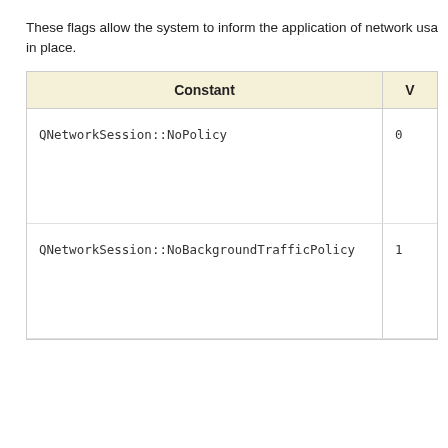These flags allow the system to inform the application of network usa in place.
| Constant | V |
| --- | --- |
| QNetworkSession::NoPolicy | 0 |
| QNetworkSession::NoBackgroundTrafficPolicy | 1 |